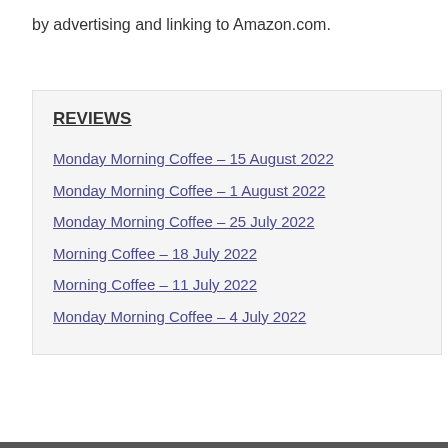by advertising and linking to Amazon.com.
REVIEWS
Monday Morning Coffee – 15 August 2022
Monday Morning Coffee – 1 August 2022
Monday Morning Coffee – 25 July 2022
Morning Coffee – 18 July 2022
Morning Coffee – 11 July 2022
Monday Morning Coffee – 4 July 2022